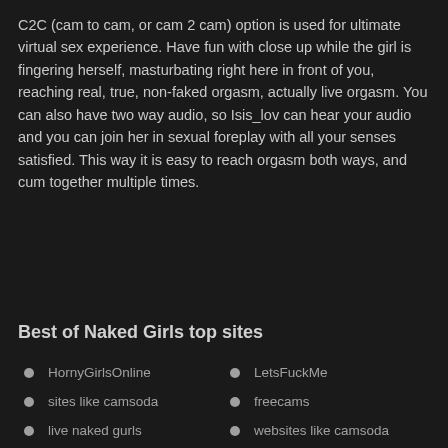C2C (cam to cam, or cam 2 cam) option is used for ultimate virtual sex experience. Have fun with close up while the girl is fingering herself, masturbating right here in front of you, reaching real, true, non-faked orgasm, actually live orgasm. You can also have two way audio, so Isis_lov can hear your audio and you can join her in sexual foreplay with all your senses satisfied. This way it is easy to reach orgasm both ways, and cum together multiple times.
Best of Naked Girls top sites
HornyGirlsOnline
LetsFuckMe
sites like camsoda
freecams
live naked gurls
websites like camsoda